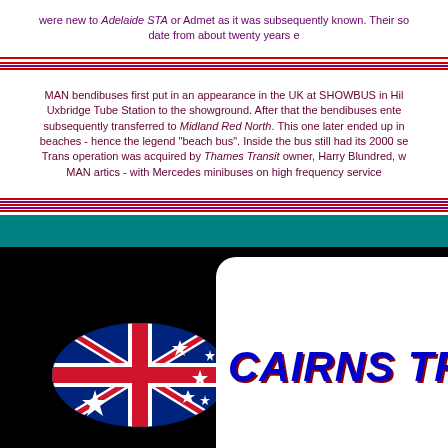were new to Adelaide STA or Admet as it was subsequently known. Their so date from about twenty years e
MAN bendibuses first put in an appearance in the UK at SHOWBUS in Hil Uxbridge Tube Station to the showground. After that the bendibuses ente subsequently transferred to Midland Red North. This one later ended up in beaches - hence the legend "beach bus". Inside the bus still had its 2000 s Trans operation was acquired by Thames Transit owner, Harry Blundred, w MAN artics - with Mercedes minibuses on high frequency service
[Figure (logo): Australian flag waving illustration]
[Figure (logo): CAIRNS TRA logo text in bold italic blue with dark red shadow on white rounded rectangle]
Page 1   1